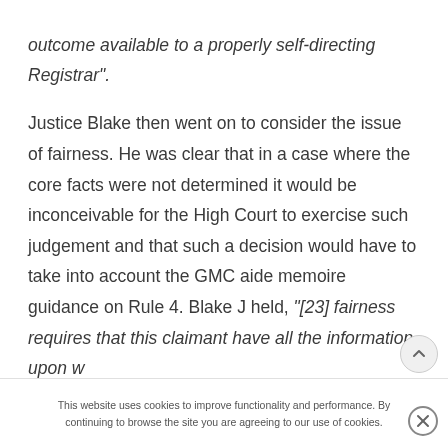outcome available to a properly self-directing Registrar".
Justice Blake then went on to consider the issue of fairness. He was clear that in a case where the core facts were not determined it would be inconceivable for the High Court to exercise such judgement and that such a decision would have to take into account the GMC aide memoire guidance on Rule 4. Blake J held, "[23] fairness requires that this claimant have all the information upon w…
This website uses cookies to improve functionality and performance. By continuing to browse the site you are agreeing to our use of cookies.